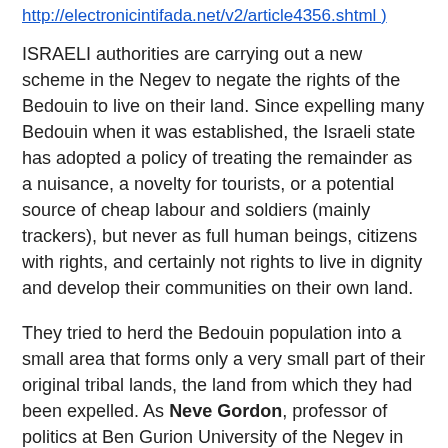http://electronicintifada.net/v2/article4356.shtml )
ISRAELI authorities are carrying out a new scheme in the Negev to negate the rights of the Bedouin to live on their land. Since expelling many Bedouin when it was established, the Israeli state has adopted a policy of treating the remainder as a nuisance, a novelty for tourists, or a potential source of cheap labour and soldiers (mainly trackers), but never as full human beings, citizens with rights, and certainly not rights to live in dignity and develop their communities on their own land.
They tried to herd the Bedouin population into a small area that forms only a very small part of their original tribal lands, the land from which they had been expelled. As Neve Gordon, professor of politics at Ben Gurion University of the Negev in Be'ersheva writes, "These Bedouins had to give up all claims to their ancestral land in order to be granted the dubious privilege of living in these overcrowded townships".
"The remaining half of the Bedouin population, which today totals about 75,000 people, were unwilling to give up their ancestral rights and were not att...how the Negev in...